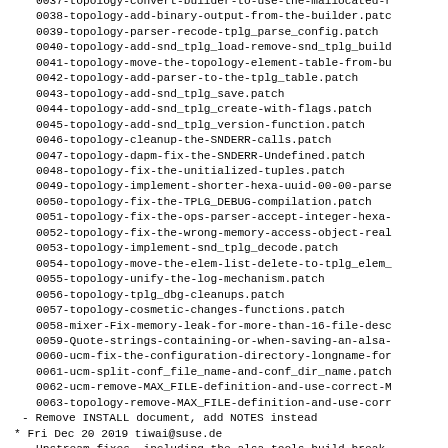0037-topology-convert-builder-to-use-the-mallocated-r
0038-topology-add-binary-output-from-the-builder.patc
0039-topology-parser-recode-tplg_parse_config.patch
0040-topology-add-snd_tplg_load-remove-snd_tplg_build
0041-topology-move-the-topology-element-table-from-bu
0042-topology-add-parser-to-the-tplg_table.patch
0043-topology-add-snd_tplg_save.patch
0044-topology-add-snd_tplg_create-with-flags.patch
0045-topology-add-snd_tplg_version-function.patch
0046-topology-cleanup-the-SNDERR-calls.patch
0047-topology-dapm-fix-the-SNDERR-Undefined.patch
0048-topology-fix-the-unitialized-tuples.patch
0049-topology-implement-shorter-hexa-uuid-00-00-parse
0050-topology-fix-the-TPLG_DEBUG-compilation.patch
0051-topology-fix-the-ops-parser-accept-integer-hexa-
0052-topology-fix-the-wrong-memory-access-object-real
0053-topology-implement-snd_tplg_decode.patch
0054-topology-move-the-elem-list-delete-to-tplg_elem_
0055-topology-unify-the-log-mechanism.patch
0056-topology-tplg_dbg-cleanups.patch
0057-topology-cosmetic-changes-functions.patch
0058-mixer-Fix-memory-leak-for-more-than-16-file-desc
0059-Quote-strings-containing-or-when-saving-an-alsa-
0060-ucm-fix-the-configuration-directory-longname-for
0061-ucm-split-conf_file_name-and-conf_dir_name.patch
0062-ucm-remove-MAX_FILE-definition-and-use-correct-M
0063-topology-remove-MAX_FILE-definition-and-use-corr
- Remove INSTALL document, add NOTES instead
* Fri Dec 20 2019 tiwai@suse.de
Upstream fixes, including the alsa tools build break